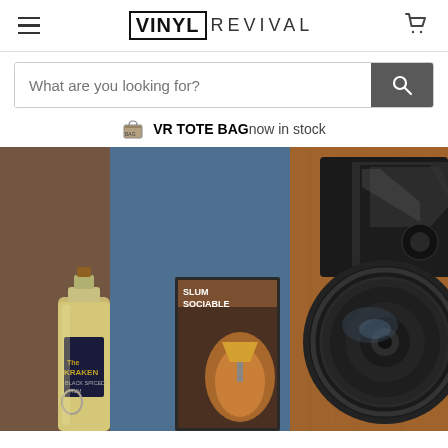VINYL REVIVAL
What are you looking for?
VR TOTE BAG now in stock
[Figure (photo): Hero photo of a wooden hi-fi speaker with a black tweeter and woofer cone, beside a vinyl record sleeve reading 'Slum Sociable' and a bottle of Kraken rum, set against a blue-grey wall.]